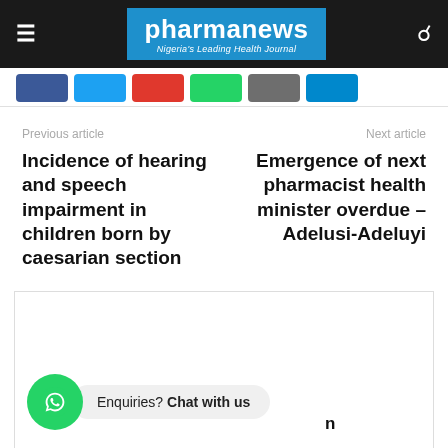pharmanews — Nigeria's Leading Health Journal
Previous article
Next article
Incidence of hearing and speech impairment in children born by caesarian section
Emergence of next pharmacist health minister overdue – Adelusi-Adeluyi
[Figure (other): Advertisement box placeholder]
Enquiries? Chat with us